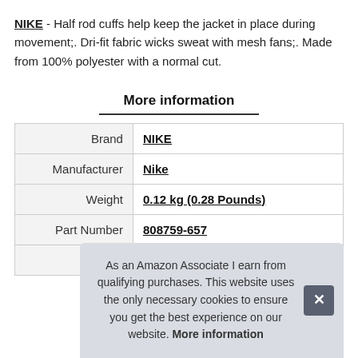NIKE - Half rod cuffs help keep the jacket in place during movement;. Dri-fit fabric wicks sweat with mesh fans;. Made from 100% polyester with a normal cut.
More information
|  |  |
| --- | --- |
| Brand | NIKE |
| Manufacturer | Nike |
| Weight | 0.12 kg (0.28 Pounds) |
| Part Number | 808759-657 |
| Model | 808759-657 |
As an Amazon Associate I earn from qualifying purchases. This website uses the only necessary cookies to ensure you get the best experience on our website. More information